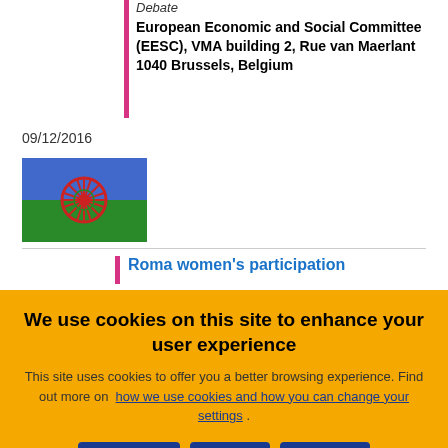Debate
European Economic and Social Committee (EESC), VMA building 2, Rue van Maerlant 1040 Brussels, Belgium
09/12/2016
[Figure (photo): Romani people flag — blue and green horizontal bands with red spoked wheel (chakra) in center]
Roma women's participation
We use cookies on this site to enhance your user experience
This site uses cookies to offer you a better browsing experience. Find out more on how we use cookies and how you can change your settings .
OK, I agree
Decline
More info